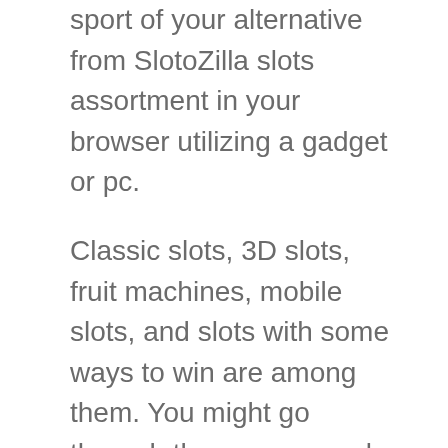sport of your alternative from SlotoZilla slots assortment in your browser utilizing a gadget or pc.
Classic slots, 3D slots, fruit machines, mobile slots, and slots with some ways to win are among them. You might go through them on our web site and choose the ones that enchantment to you.
You'll often find multi-reels with 25 or 50 paylines. With the aforementioned repairs I now advocate this recreation and provides it 5 stars for enjoyable, graphics, and most importantly, the supporting workers and the fixing of points. Licensed and controlled by The Gambling